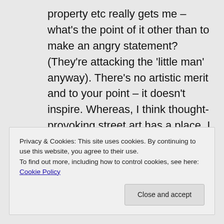property etc really gets me – what's the point of it other than to make an angry statement? (They're attacking the 'little man' anyway). There's no artistic merit and to your point – it doesn't inspire. Whereas, I think thought-provoking street art has a place. I really appreciate local councils opening up public spaces to creative expression too – glad to hear about it in Toronto. Cheers, Z
Privacy & Cookies: This site uses cookies. By continuing to use this website, you agree to their use. To find out more, including how to control cookies, see here: Cookie Policy